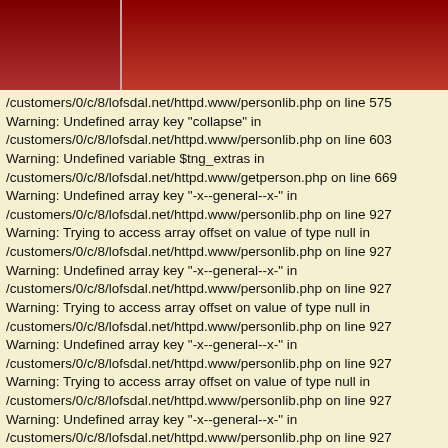[Figure (screenshot): Dark red navigation/header bar at top of webpage]
/customers/0/c/8/lofsdal.net/httpd.www/personlib.php on line 575
Warning: Undefined array key "collapse" in
/customers/0/c/8/lofsdal.net/httpd.www/personlib.php on line 603
Warning: Undefined variable $tng_extras in
/customers/0/c/8/lofsdal.net/httpd.www/getperson.php on line 669
Warning: Undefined array key "-x--general--x-" in
/customers/0/c/8/lofsdal.net/httpd.www/personlib.php on line 927
Warning: Trying to access array offset on value of type null in
/customers/0/c/8/lofsdal.net/httpd.www/personlib.php on line 927
Warning: Undefined array key "-x--general--x-" in
/customers/0/c/8/lofsdal.net/httpd.www/personlib.php on line 927
Warning: Trying to access array offset on value of type null in
/customers/0/c/8/lofsdal.net/httpd.www/personlib.php on line 927
Warning: Undefined array key "-x--general--x-" in
/customers/0/c/8/lofsdal.net/httpd.www/personlib.php on line 927
Warning: Trying to access array offset on value of type null in
/customers/0/c/8/lofsdal.net/httpd.www/personlib.php on line 927
Warning: Undefined array key "-x--general--x-" in
/customers/0/c/8/lofsdal.net/httpd.www/personlib.php on line 927
Warning: Trying to access array offset on value of type null in
/customers/0/c/8/lofsdal.net/httpd.www/personlib.php on line 927
Warning: Undefined array key "-x--general--x-" in
/customers/0/c/8/lofsdal.net/httpd.www/personlib.php on line 927
Warning: Trying to access array offset on value of type null in
/customers/0/c/8/lofsdal.net/httpd.www/personlib.php on line 927